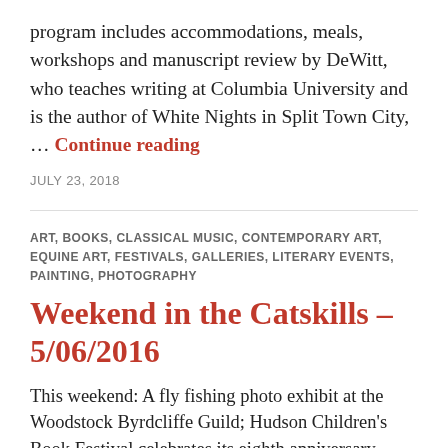program includes accommodations, meals, workshops and manuscript review by DeWitt, who teaches writing at Columbia University and is the author of White Nights in Split Town City, ... Continue reading
JULY 23, 2018
ART, BOOKS, CLASSICAL MUSIC, CONTEMPORARY ART, EQUINE ART, FESTIVALS, GALLERIES, LITERARY EVENTS, PAINTING, PHOTOGRAPHY
Weekend in the Catskills – 5/06/2016
This weekend: A fly fishing photo exhibit at the Woodstock Byrdcliffe Guild; Hudson Children's Book Festival celebrates its eighth anniversary – New York Times bestselling author Julie Fogliano will be among participating writers this year; Equis Art Gallery in Red